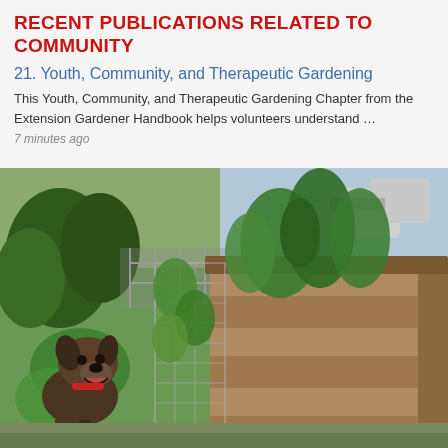RECENT PUBLICATIONS RELATED TO COMMUNITY
21. Youth, Community, and Therapeutic Gardening
This Youth, Community, and Therapeutic Gardening Chapter from the Extension Gardener Handbook helps volunteers understand …
7 minutes ago
[Figure (photo): A dog standing next to a raised garden bed made of wooden planks, filled with green plants and supported by wire mesh, in a backyard setting with grass and trees in the background.]